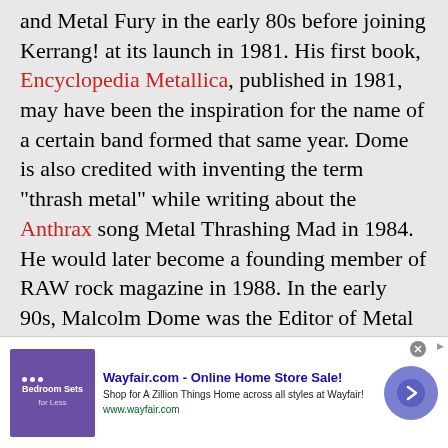and Metal Fury in the early 80s before joining Kerrang! at its launch in 1981. His first book, Encyclopedia Metallica, published in 1981, may have been the inspiration for the name of a certain band formed that same year. Dome is also credited with inventing the term "thrash metal" while writing about the Anthrax song Metal Thrashing Mad in 1984. He would later become a founding member of RAW rock magazine in 1988. In the early 90s, Malcolm Dome was the Editor of Metal Forces magazine, and also involved in the horror film magazine Terror, before returning to Kerrang! for a spell. With the launch of Classic Rock magazine in 1998 he became involved with that title, sister magazine Metal Hammer, and was
[Figure (other): Wayfair.com advertisement banner with purple bedroom sets image, bold blue title 'Wayfair.com - Online Home Store Sale!', descriptive text, green URL, and a circular arrow button]